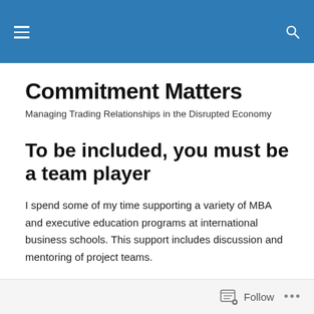Commitment Matters
Commitment Matters
Managing Trading Relationships in the Disrupted Economy
To be included, you must be a team player
I spend some of my time supporting a variety of MBA and executive education programs at international business schools. This support includes discussion and mentoring of project teams.
Follow